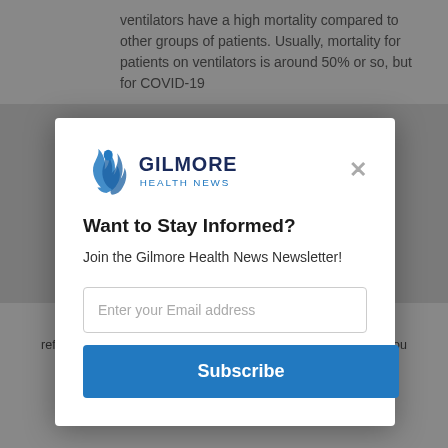ventilators have a high mortality compared to other groups of patients. Usually, mortality for patients on ventilators is around 50% or so, but for COVID-19
[Figure (logo): Gilmore Health News logo with blue flame/person icon and text 'GILMORE HEALTH NEWS']
Want to Stay Informed?
Join the Gilmore Health News Newsletter!
Enter your Email address
Subscribe
refer to the Gilmore Health Privacy Policy. By entering our site you are agreeing to our terms!
Accept
Privacy Policy